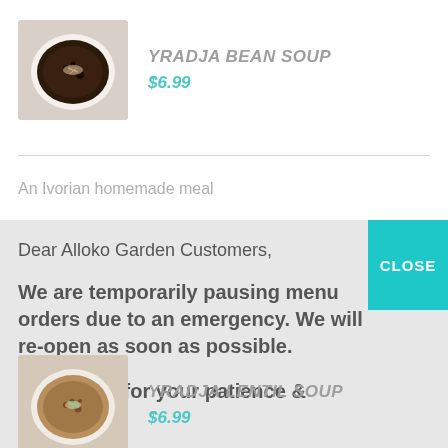[Figure (photo): Photo of a dark soup in a white bowl, top-down view]
YRADJA BEAN SOUP
$6.99
An Ivorian homemade meal
CLOSE
Dear Alloko Garden Customers,

We are temporarily pausing menu orders due to an emergency. We will re-open as soon as possible.

Thank you for your patience & support.
[Figure (photo): Photo of a lentil soup in a bowl, top-down view]
YRADJA LENTIL SOUP
$6.99